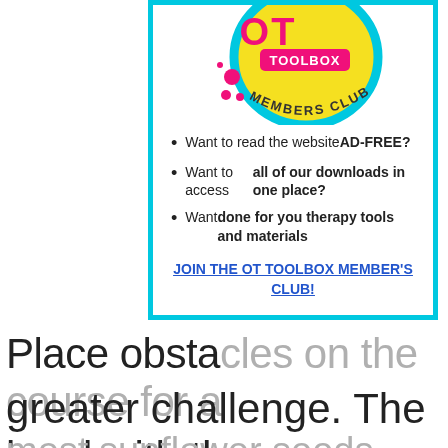[Figure (logo): OT Toolbox Members Club logo — circular yellow badge with pink and dark text]
Want to read the website AD-FREE?
Want to access all of our downloads in one place?
Want done for you therapy tools and materials
JOIN THE OT TOOLBOX MEMBER'S CLUB!
Place obstacles on the course for a greater challenge. The bowl with the most sunflower seeds wins! This